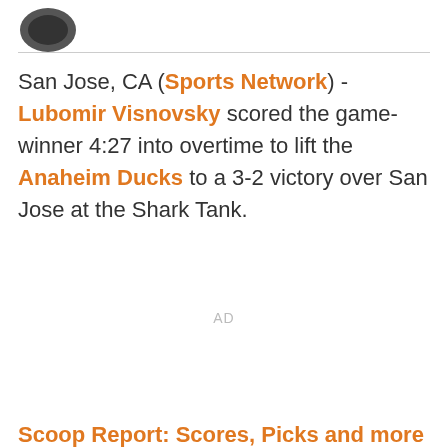[Figure (logo): Partial logo visible at top left corner]
San Jose, CA (Sports Network) - Lubomir Visnovsky scored the game-winner 4:27 into overtime to lift the Anaheim Ducks to a 3-2 victory over San Jose at the Shark Tank.
AD
(partial orange text cut off at bottom)